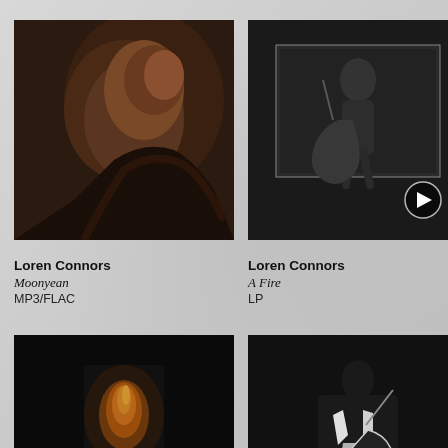[Figure (photo): Album cover for Loren Connors - Moonyean, dark close-up image]
Loren Connors
Moonyean
MP3/FLAC
[Figure (photo): Album cover for Loren Connors - A Fire, black and white photo of guitarist with play button overlay]
Loren Connors
A Fire
LP
[Figure (photo): Album cover for Loren Connors - The Curse of Midnight Mary, partial view of blue/grey artistic image]
Loren Connors
The Curse of Midnight Mary
LP/CD/FLAC/
[Figure (photo): Album cover for Loren Connors - The Moon Last Night, black cover with small fire image]
Loren Connors
The Moon Last Night
LP
[Figure (photo): Album cover for Loren Connors - The Departing of a Dream, black and white photo of guitarist]
Loren Connors
The Departing of a Dream
CD
[Figure (photo): Album cover for Loren Connors - Live In New York, warm toned photo of long-haired person]
Loren Connors
Live In New Yo…
CD/FLAC/MP3